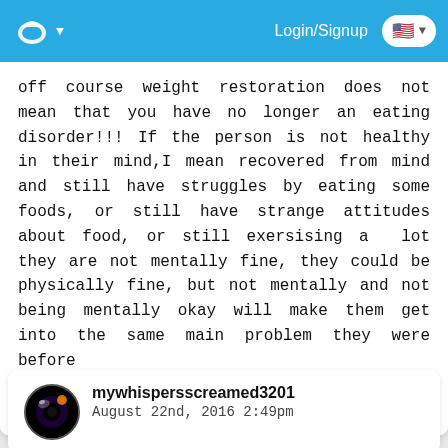Login/Signup
off course weight restoration does not mean that you have no longer an eating disorder!!! If the person is not healthy in their mind,I mean recovered from mind and still have struggles by eating some foods, or still have strange attitudes about food, or still exersising a lot they are not mentally fine, they could be physically fine, but not mentally and not being mentally okay will make them get into the same main problem they were before
Did you find this post helpful? 👍 0
mywhispersscreamed3201
August 22nd, 2016 2:49pm